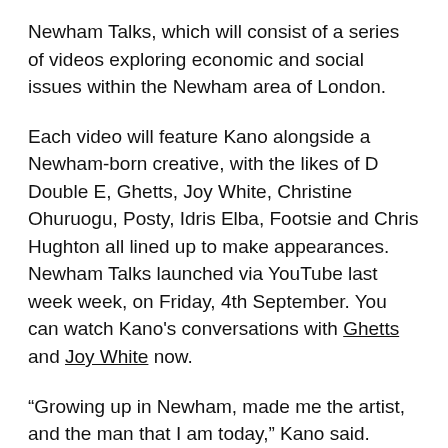Newham Talks, which will consist of a series of videos exploring economic and social issues within the Newham area of London.
Each video will feature Kano alongside a Newham-born creative, with the likes of D Double E, Ghetts, Joy White, Christine Ohuruogu, Posty, Idris Elba, Footsie and Chris Hughton all lined up to make appearances. Newham Talks launched via YouTube last week week, on Friday, 4th September. You can watch Kano's conversations with Ghetts and Joy White now.
“Growing up in Newham, made me the artist, and the man that I am today,” Kano said. “Newham is one of the most culturally rich but economically one of the poorest boroughs in London, and as the effects of Covid-19 continue to hit the community hard we must come together and do what we can to help.